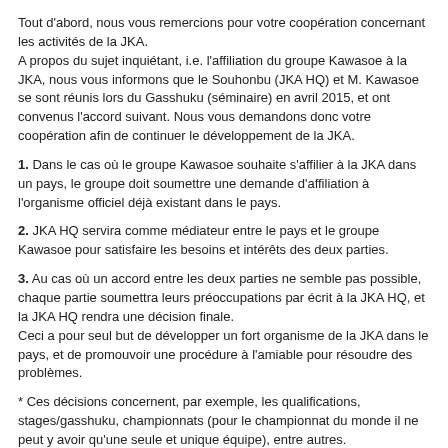Tout d'abord, nous vous remercions pour votre coopération concernant les activités de la JKA.
A propos du sujet inquiétant, i.e. l'affiliation du groupe Kawasoe à la JKA, nous vous informons que le Souhonbu (JKA HQ) et M. Kawasoe se sont réunis lors du Gasshuku (séminaire) en avril 2015, et ont convenus l'accord suivant. Nous vous demandons donc votre coopération afin de continuer le développement de la JKA.
1. Dans le cas où le groupe Kawasoe souhaite s'affilier à la JKA dans un pays, le groupe doit soumettre une demande d'affiliation à l'organisme officiel déjà existant dans le pays.
2. JKA HQ servira comme médiateur entre le pays et le groupe Kawasoe pour satisfaire les besoins et intérêts des deux parties.
3. Au cas où un accord entre les deux parties ne semble pas possible, chaque partie soumettra leurs préoccupations par écrit à la JKA HQ, et la JKA HQ rendra une décision finale.
Ceci a pour seul but de développer un fort organisme de la JKA dans le pays, et de promouvoir une procédure à l'amiable pour résoudre des problèmes.
* Ces décisions concernent, par exemple, les qualifications, stages/gasshuku, championnats (pour le championnat du monde il ne peut y avoir qu'une seule et unique équipe), entre autres.